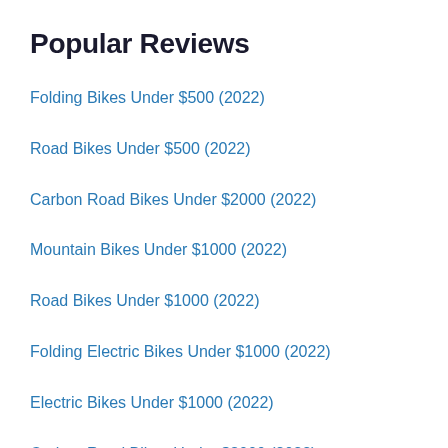Popular Reviews
Folding Bikes Under $500 (2022)
Road Bikes Under $500 (2022)
Carbon Road Bikes Under $2000 (2022)
Mountain Bikes Under $1000 (2022)
Road Bikes Under $1000 (2022)
Folding Electric Bikes Under $1000 (2022)
Electric Bikes Under $1000 (2022)
Carbon Road Bikes Under $3000 (2022)
Featured Reviews